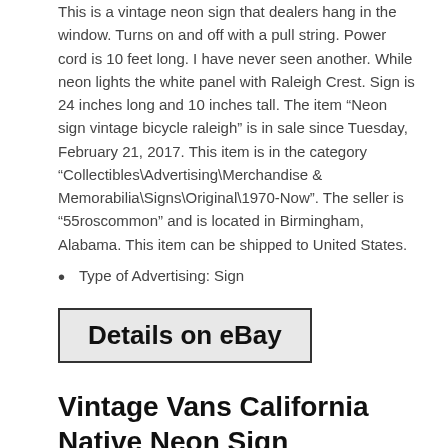This is a vintage neon sign that dealers hang in the window. Turns on and off with a pull string. Power cord is 10 feet long. I have never seen another. While neon lights the white panel with Raleigh Crest. Sign is 24 inches long and 10 inches tall. The item “Neon sign vintage bicycle raleigh” is in sale since Tuesday, February 21, 2017. This item is in the category “Collectibles\Advertising\Merchandise & Memorabilia\Signs\Original\1970-Now”. The seller is “55roscommon” and is located in Birmingham, Alabama. This item can be shipped to United States.
Type of Advertising: Sign
[Figure (screenshot): Details on eBay button — a rectangular button with border and gray background, bold black text]
Vintage Vans California Native Neon Sign
POSTED ON: FEBRUARY 26, 2017   BY: ADMIN
[Figure (photo): Partial photo of a neon sign with dark red/maroon background and pink/orange neon arc visible at the bottom]